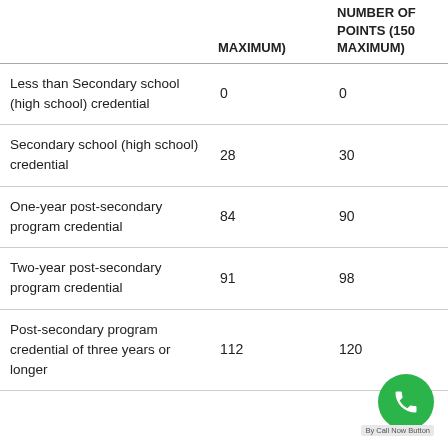|  | MAXIMUM) | NUMBER OF POINTS (150 MAXIMUM) |
| --- | --- | --- |
| Less than Secondary school (high school) credential | 0 | 0 |
| Secondary school (high school) credential | 28 | 30 |
| One-year post-secondary program credential | 84 | 90 |
| Two-year post-secondary program credential | 91 | 98 |
| Post-secondary program credential of three years or longer | 112 | 120 |